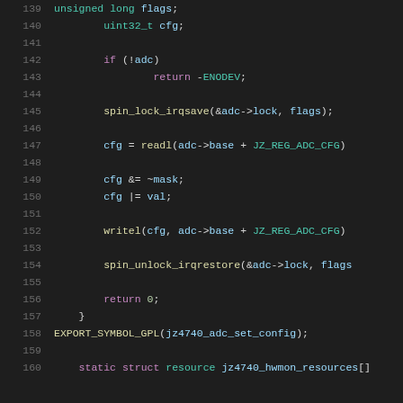[Figure (screenshot): Source code listing (C language, Linux kernel style) showing lines 139-160 of a file. Dark theme editor with syntax highlighting. Lines include: unsigned long flags; uint32_t cfg; if (!adc) return -ENODEV; spin_lock_irqsave(&adc->lock, flags); cfg = readl(adc->base + JZ_REG_ADC_CFG); cfg &= ~mask; cfg |= val; writel(cfg, adc->base + JZ_REG_ADC_CFG); spin_unlock_irqrestore(&adc->lock, flags); return 0; } EXPORT_SYMBOL_GPL(jz4740_adc_set_config); static struct resource jz4740_hwmon_resources[]]